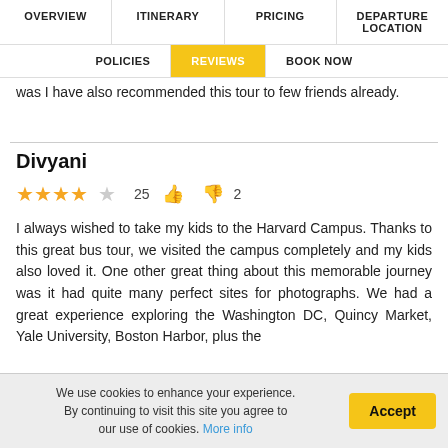OVERVIEW | ITINERARY | PRICING | DEPARTURE LOCATION | POLICIES | REVIEWS | BOOK NOW
was I have also recommended this tour to few friends already.
Divyani
★★★★☆  25 👍  👎 2
I always wished to take my kids to the Harvard Campus. Thanks to this great bus tour, we visited the campus completely and my kids also loved it. One other great thing about this memorable journey was it had quite many perfect sites for photographs. We had a great experience exploring the Washington DC, Quincy Market, Yale University, Boston Harbor, plus the
We use cookies to enhance your experience. By continuing to visit this site you agree to our use of cookies. More info